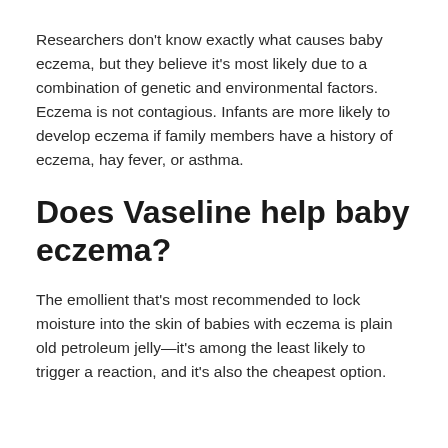Researchers don't know exactly what causes baby eczema, but they believe it's most likely due to a combination of genetic and environmental factors. Eczema is not contagious. Infants are more likely to develop eczema if family members have a history of eczema, hay fever, or asthma.
Does Vaseline help baby eczema?
The emollient that's most recommended to lock moisture into the skin of babies with eczema is plain old petroleum jelly—it's among the least likely to trigger a reaction, and it's also the cheapest option.